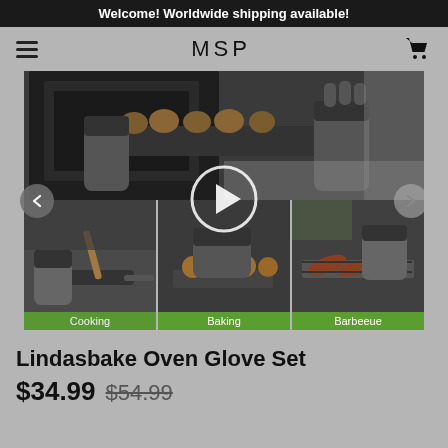Welcome! Worldwide shipping available!
MSP
[Figure (photo): Product image collage showing oven gloves in use: top image shows gloves pulling a baking tray from oven; bottom row shows three images labeled Cooking, Baking, Barbeeue with a video play button overlay]
Lindasbake Oven Glove Set
$34.99 $54.99